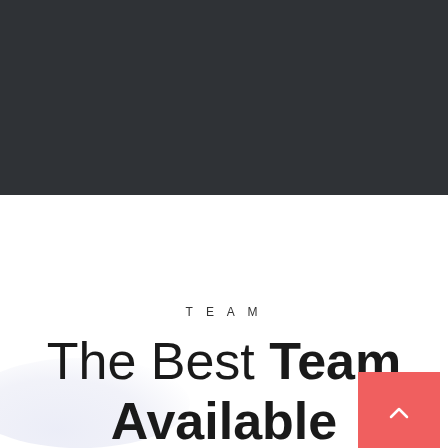[Figure (illustration): Dark charcoal/near-black rectangular background section occupying the top half of the page]
TEAM
The Best Team Available